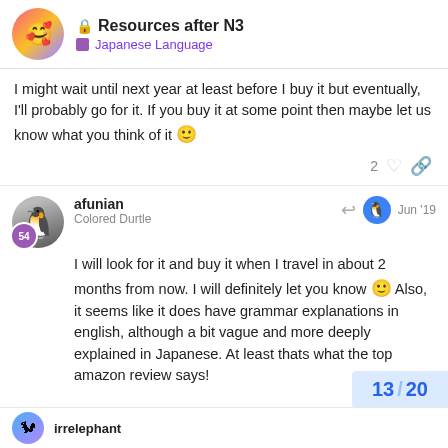Resources after N3 — Japanese Language
I might wait until next year at least before I buy it but eventually, I'll probably go for it. If you buy it at some point then maybe let us know what you think of it 🙂
afunian — Colored Durtle — Jun '19
I will look for it and buy it when I travel in about 2 months from now. I will definitely let you know 🙂 Also, it seems like it does have grammar explanations in english, although a bit vague and more deeply explained in Japanese. At least thats what the top amazon review says!
13 / 20
irrelephant